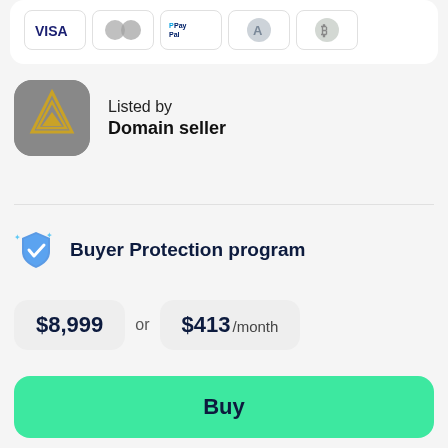[Figure (illustration): Payment method icons: Visa, Mastercard, PayPal, Alipay, Bitcoin]
Listed by
Domain seller
Buyer Protection program
$8,999
or
$413 /month
Buy